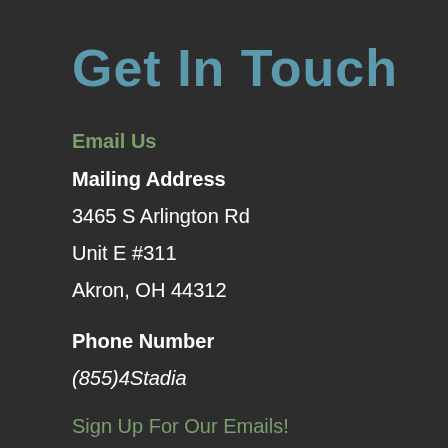Get In Touch
Email Us
Mailing Address
3465 S Arlington Rd
Unit E #311
Akron, OH 44312
Phone Number
(855)4Stadia
Sign Up For Our Emails!
QuickLinks